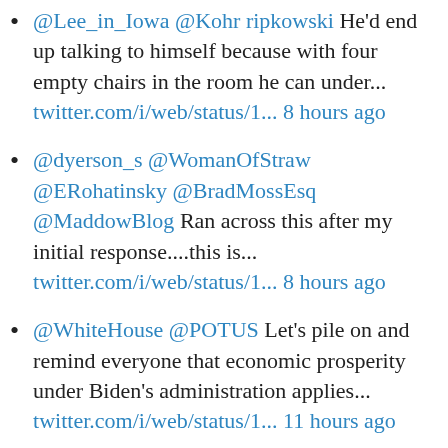@Lee_in_Iowa @Kohr ripkowski He'd end up talking to himself because with four empty chairs in the room he can under... twitter.com/i/web/status/1... 8 hours ago
@dyerson_s @WomanOfStraw @ERohatinsky @BradMossEsq @MaddowBlog Ran across this after my initial response....this is... twitter.com/i/web/status/1... 8 hours ago
@WhiteHouse @POTUS Let's pile on and remind everyone that economic prosperity under Biden's administration applies... twitter.com/i/web/status/1... 11 hours ago
Wholeheartedly agree as long as we include the definition: far-right, authoritarian, ultranationalist political id...